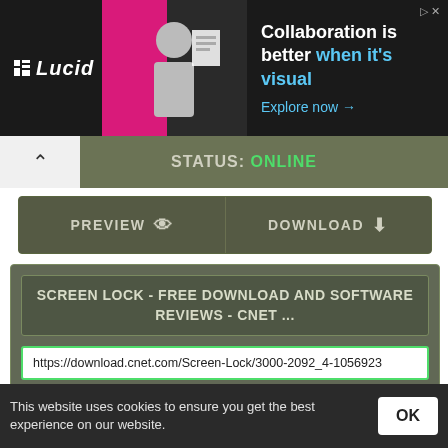[Figure (screenshot): Lucid advertisement banner: dark background with Lucid logo, person image with pink background, and text 'Collaboration is better when it's visual. Explore now →']
STATUS: ONLINE
PREVIEW   DOWNLOAD
SCREEN LOCK - FREE DOWNLOAD AND SOFTWARE REVIEWS - CNET ...
https://download.cnet.com/Screen-Lock/3000-2092_4-1056923
Screen Lock is a great and secure program to keep prying eyes out of your work. This version does have an easily changeable password utility just as past versions had stated.
STATUS: ONLINE
This website uses cookies to ensure you get the best experience on our website.